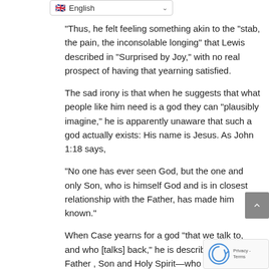[Figure (screenshot): Language selector dropdown showing English with UK flag]
“Thus, he felt feeling something akin to the “stab, the pain, the inconsolable longing” that Lewis described in “Surprised by Joy,” with no real prospect of having that yearning satisfied.
The sad irony is that when he suggests that what people like him need is a god they can “plausibly imagine,” he is apparently unaware that such a god actually exists: His name is Jesus. As John 1:18 says,
“No one has ever seen God, but the one and only Son, who is himself God and is in closest relationship with the Father, has made him known.”
When Case yearns for a god “that we talk to, and who [talks] back,” he is describing the Go—Father , Son and Holy Spirit—who Christians profess and worship.